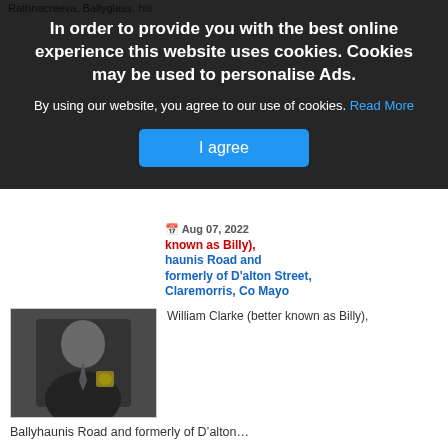[Figure (screenshot): Cookie consent overlay on a website with dark background, bold white text heading, body text, blue 'Read More' link, and a blue 'I agree' button]
Rathnacreeva, Ballyglass, his
Aug 07, 2022
known as Billy), haunis Road and formerly of D'alton Street, Claremorris, Co Mayo
William Clarke (better known as Billy),
Ballyhaunis Road and formerly of D'alton…
Aug 07, 2022
Paul Tierney, Enfield, London and late of Snugboro, Castlebar
Paul Tierney,
Enfield, London and late of Snugboro, Castlebar -